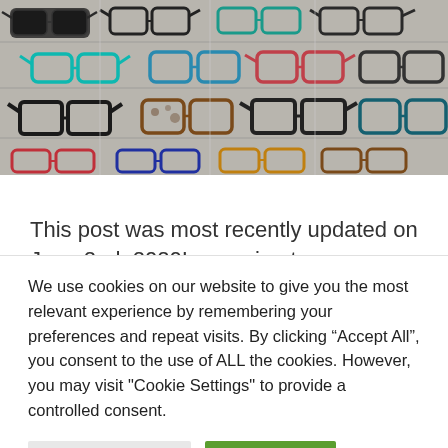[Figure (photo): A wall display of multiple eyeglass frames arranged in rows on a retail optical store display. Frames are various colors including black, teal/turquoise, red, brown, and tortoiseshell patterns.]
This post was most recently updated on June 2nd, 2020I am going to warn you straight
We use cookies on our website to give you the most relevant experience by remembering your preferences and repeat visits. By clicking “Accept All”, you consent to the use of ALL the cookies. However, you may visit "Cookie Settings" to provide a controlled consent.